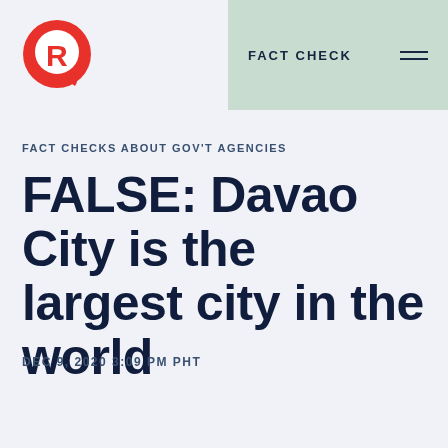[Figure (logo): Rappler logo — red circular R with speech bubble design]
FACT CHECK
FACT CHECKS ABOUT GOV'T AGENCIES
FALSE: Davao City is the largest city in the world
DEC 9, 2020 3:09 PM PHT